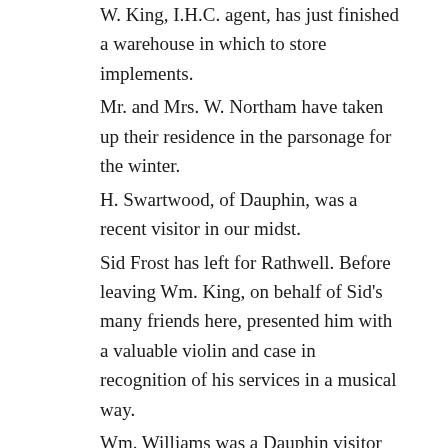W. King, I.H.C. agent, has just finished a warehouse in which to store implements.
Mr. and Mrs. W. Northam have taken up their residence in the parsonage for the winter.
H. Swartwood, of Dauphin, was a recent visitor in our midst.
Sid Frost has left for Rathwell. Before leaving Wm. King, on behalf of Sid's many friends here, presented him with a valuable violin and case in recognition of his services in a musical way.
Wm. Williams was a Dauphin visitor on Tuesday.
F.B. Lacey, T.B. Venables and J.D. Robertson are the nominees for the reeveship.
The Fork River, Mossey River and Pine View Schools are still closed.
Several of the hunters have returned. Which one shot